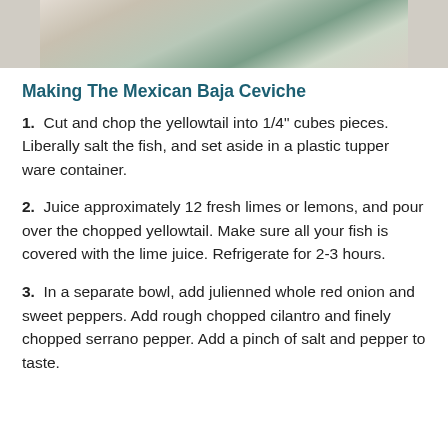[Figure (photo): Top portion of a food photo showing a dish, partially visible at the top of the page.]
Making The Mexican Baja Ceviche
1.  Cut and chop the yellowtail into 1/4" cubes pieces. Liberally salt the fish, and set aside in a plastic tupper ware container.
2.  Juice approximately 12 fresh limes or lemons, and pour over the chopped yellowtail. Make sure all your fish is covered with the lime juice. Refrigerate for 2-3 hours.
3.  In a separate bowl, add julienned whole red onion and sweet peppers. Add rough chopped cilantro and finely chopped serrano pepper. Add a pinch of salt and pepper to taste.